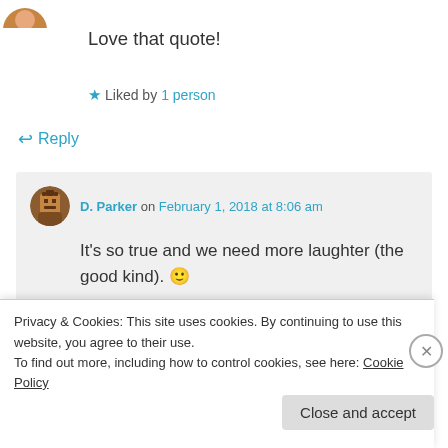[Figure (photo): Partial avatar image at top left corner]
Love that quote!
★ Liked by 1 person
↩ Reply
D. Parker on February 1, 2018 at 8:06 am
It's so true and we need more laughter (the good kind). 🙂
★ Like
Privacy & Cookies: This site uses cookies. By continuing to use this website, you agree to their use.
To find out more, including how to control cookies, see here: Cookie Policy
Close and accept